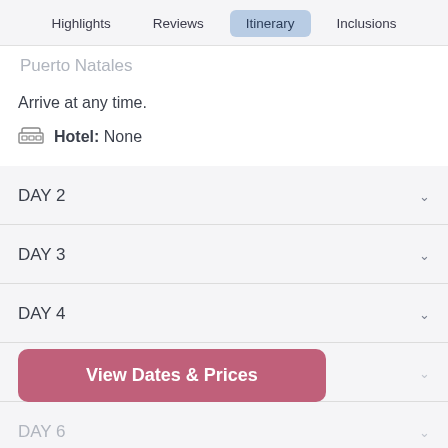Highlights  Reviews  Itinerary  Inclusions
Puerto Natales
Arrive at any time.
Hotel:  None
DAY 2
DAY 3
DAY 4
DAY 5
DAY 6
View Dates & Prices